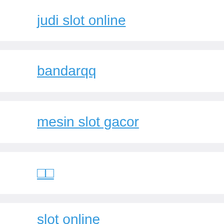judi slot online
bandarqq
mesin slot gacor
□□
slot online